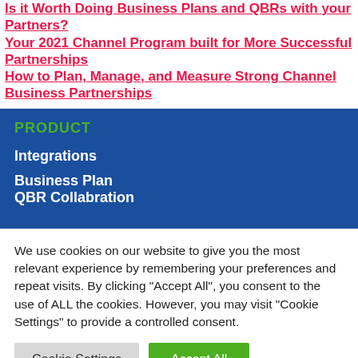Is it Worth Doing Business Plans and QBRs with your Partners?
Your 2021 Channel Program built for More Successful Partnerships
How to Plan, Manage, and Measure Strong Channel Business Partnerships
PRODUCT
Integrations
Business Plan
QBR Collabration
We use cookies on our website to give you the most relevant experience by remembering your preferences and repeat visits. By clicking “Accept All”, you consent to the use of ALL the cookies. However, you may visit “Cookie Settings” to provide a controlled consent.
Cookie Settings  Accept All